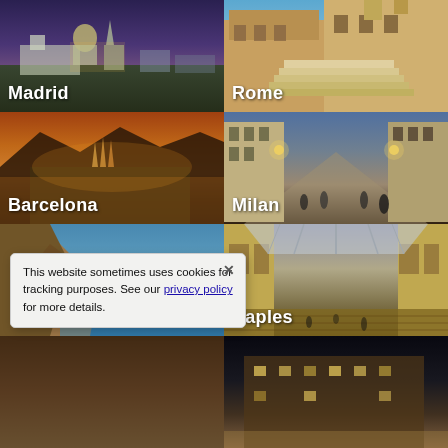[Figure (photo): Madrid cityscape at twilight showing palace and cathedral with illuminated buildings]
[Figure (photo): Rome Spanish Steps with historic buildings and blue sky]
[Figure (photo): Barcelona aerial view at sunset showing Sagrada Familia and city skyline]
[Figure (photo): Milan evening street scene with ornate buildings and pedestrians]
[Figure (photo): Tenerife dramatic coastal cliffs and sea view]
[Figure (photo): Naples grand galleria arcade interior with glass ceiling]
[Figure (photo): Partially visible city photo bottom left]
[Figure (photo): Partially visible city photo bottom right]
This website sometimes uses cookies for tracking purposes. See our privacy policy for more details.